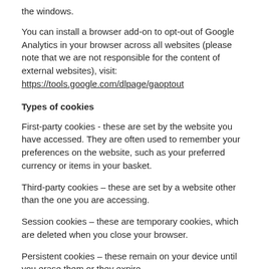the windows.
You can install a browser add-on to opt-out of Google Analytics in your browser across all websites (please note that we are not responsible for the content of external websites), visit: https://tools.google.com/dlpage/gaoptout
Types of cookies
First-party cookies - these are set by the website you have accessed. They are often used to remember your preferences on the website, such as your preferred currency or items in your basket.
Third-party cookies – these are set by a website other than the one you are accessing.
Session cookies – these are temporary cookies, which are deleted when you close your browser.
Persistent cookies – these remain on your device until you erase them or they expire.